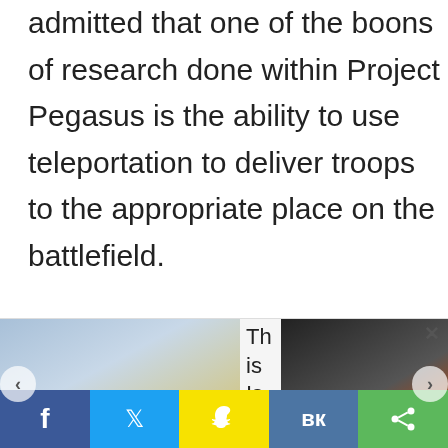admitted that one of the boons of research done within Project Pegasus is the ability to use teleportation to deliver troops to the appropriate place on the battlefield.

So how does this happen?

This is a similar question that was
[Figure (screenshot): Advertisement carousel with two ad images and text snippets, with left and right navigation arrows. Left ad shows people in yellow shirts. Right ad shows a person with highlighted hip/back area.]
[Figure (screenshot): Social media sharing bar at bottom with Facebook, Twitter, Snapchat, VK, and share buttons]